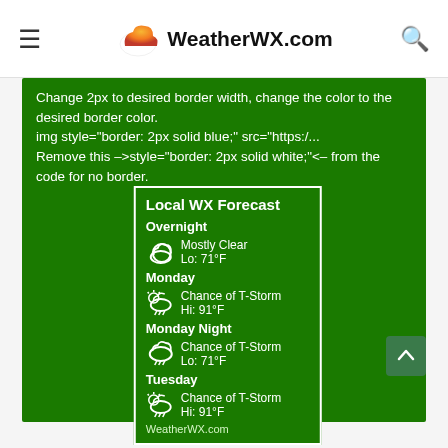WeatherWX.com
Change 2px to desired border width, change the color to the desired border color.
img style="border: 2px solid blue;" src="https:/...
Remove this -->style="border: 2px solid white;"<-- from the code for no border.
[Figure (screenshot): WeatherWX.com local weather forecast widget showing: Overnight - Mostly Clear, Lo: 71°F; Monday - Chance of T-Storm, Hi: 91°F; Monday Night - Chance of T-Storm, Lo: 71°F; Tuesday - Chance of T-Storm, Hi: 91°F. WeatherWX.com branding at bottom.]